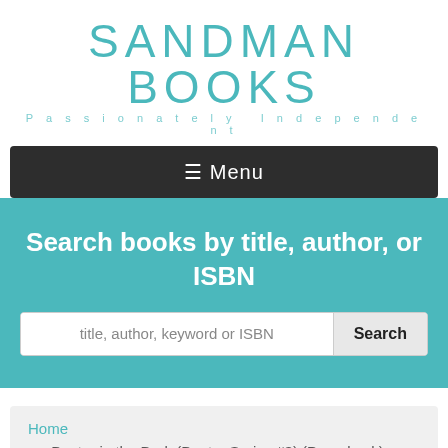[Figure (logo): Sandman Books logo with teal text and tagline 'Passionately Independent']
≡ Menu
Search books by title, author, or ISBN
title, author, keyword or ISBN
Home
>> Dexter in the Dark (Dexter Series #3) (Paperback)